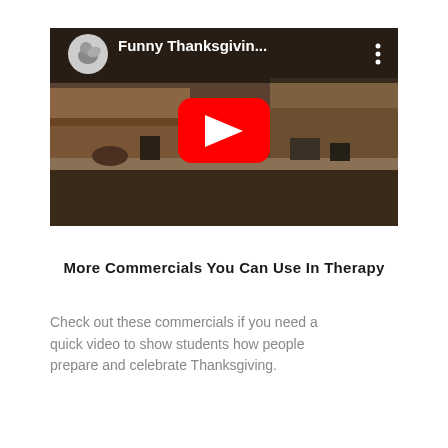[Figure (screenshot): YouTube video thumbnail showing a kitchen scene with a YouTube play button overlay. Title reads 'Funny Thanksgivin...' with a channel icon on the left and three-dot menu on the right.]
More Commercials You Can Use In Therapy
Check out these commercials if you need a quick video to show students how people prepare and celebrate Thanksgiving.